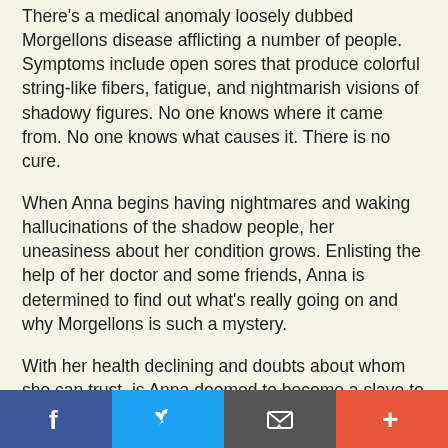There's a medical anomaly loosely dubbed Morgellons disease afflicting a number of people. Symptoms include open sores that produce colorful string-like fibers, fatigue, and nightmarish visions of shadowy figures. No one knows where it came from. No one knows what causes it. There is no cure.
When Anna begins having nightmares and waking hallucinations of the shadow people, her uneasiness about her condition grows. Enlisting the help of her doctor and some friends, Anna is determined to find out what's really going on and why Morgellons is such a mystery.
With her health declining and doubts about whom she can trust, is Anna doomed to become a slave to her condition? Or will she and her unlikely group of would-be heroes come through, saving her... and, ultimately, the world?
back to top
[Figure (photo): Partial image showing a person's face/head on the left and what appears to be a keyboard or device in the background, with partial text visible at bottom]